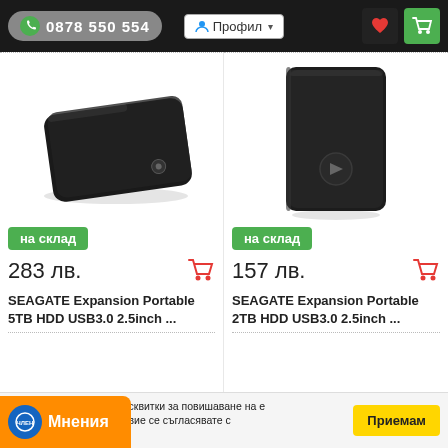0878 550 554  Профил
[Figure (photo): SEAGATE Expansion Portable 5TB HDD - flat black hard drive, angled top view]
на склад
283 лв.
SEAGATE Expansion Portable 5TB HDD USB3.0 2.5inch ...
[Figure (photo): SEAGATE Expansion Portable 2TB HDD - upright black hard drive, front view]
на склад
157 лв.
SEAGATE Expansion Portable 2TB HDD USB3.0 2.5inch ...
Datacom.bg използва бисквитки за повишаване на ефективността на сайта, вие се съгласявате с то...
Мнения